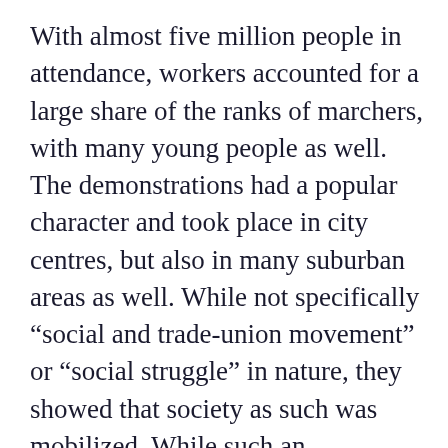With almost five million people in attendance, workers accounted for a large share of the ranks of marchers, with many young people as well. The demonstrations had a popular character and took place in city centres, but also in many suburban areas as well. While not specifically “social and trade-union movement” or “social struggle” in nature, they showed that society as such was mobilized. While such an assessment is open to debate, it appears the gatherings brought together “the people of the [ACCESSIBILITY] this fraternal outpouring against